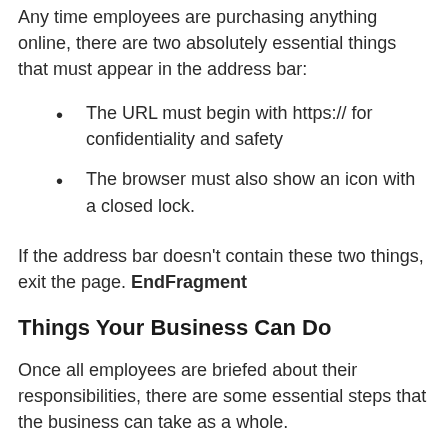Any time employees are purchasing anything online, there are two absolutely essential things that must appear in the address bar:
The URL must begin with https:// for confidentiality and safety
The browser must also show an icon with a closed lock.
If the address bar doesn't contain these two things, exit the page. EndFragment
Things Your Business Can Do
Once all employees are briefed about their responsibilities, there are some essential steps that the business can take as a whole.